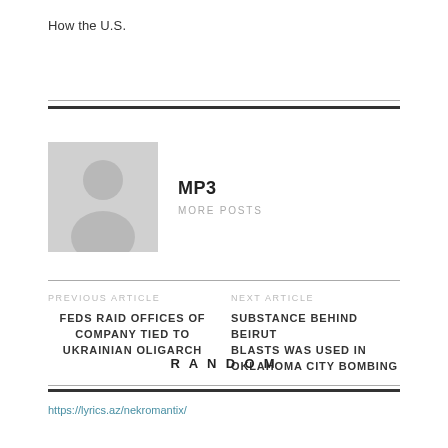How the U.S.
[Figure (illustration): Gray placeholder avatar showing a silhouette of a person (head and shoulders) on a light gray square background]
MP3
MORE POSTS
PREVIOUS ARTICLE
FEDS RAID OFFICES OF COMPANY TIED TO UKRAINIAN OLIGARCH
NEXT ARTICLE
SUBSTANCE BEHIND BEIRUT BLASTS WAS USED IN OKLAHOMA CITY BOMBING
RANDOM
https://lyrics.az/nekromantix/